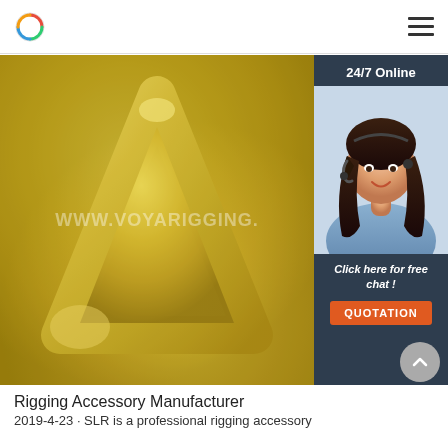Logo and navigation hamburger menu
[Figure (photo): Close-up photo of a gold/brass triangular metal ring rigging accessory, showing the welded corner and textured metallic surface. Watermark text 'WWW.VOYARIGGING.' overlaid in white.]
[Figure (photo): Chat widget overlay on dark blue-gray background: '24/7 Online' label at top, photo of a smiling female customer service agent wearing a headset, 'Click here for free chat!' text in italic white, and an orange 'QUOTATION' button below.]
Rigging Accessory Manufacturer
2019-4-23u2002·u2002SLR is a professional rigging accessory